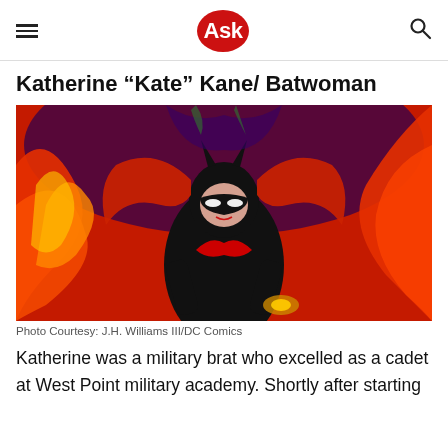Ask (logo)
Katherine “Kate” Kane/ Batwoman
[Figure (illustration): Comic book illustration of Batwoman (Katherine Kane) in a black and red costume with bat-ear cowl, dramatic red flowing cape/hair, against a vivid red and dark background with swirling elements.]
Photo Courtesy: J.H. Williams III/DC Comics
Katherine was a military brat who excelled as a cadet at West Point military academy. Shortly after starting